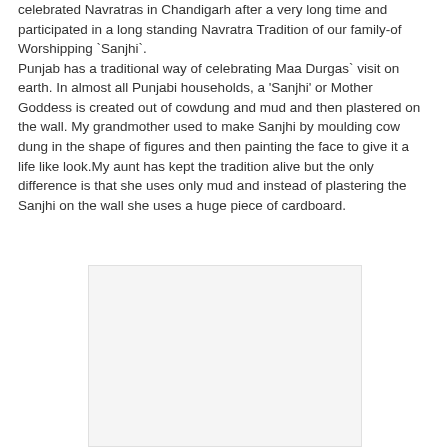celebrated Navratras in Chandigarh after a very long time and participated in a long standing Navratra Tradition of our family-of Worshipping `Sanjhi`. Punjab has a traditional way of celebrating Maa Durgas` visit on earth. In almost all Punjabi households, a 'Sanjhi' or Mother Goddess is created out of cowdung and mud and then plastered on the wall. My grandmother used to make Sanjhi by moulding cow dung in the shape of figures and then painting the face to give it a life like look.My aunt has kept the tradition alive but the only difference is that she uses only mud and instead of plastering the Sanjhi on the wall she uses a huge piece of cardboard.
[Figure (photo): A blank/white image placeholder rectangle]